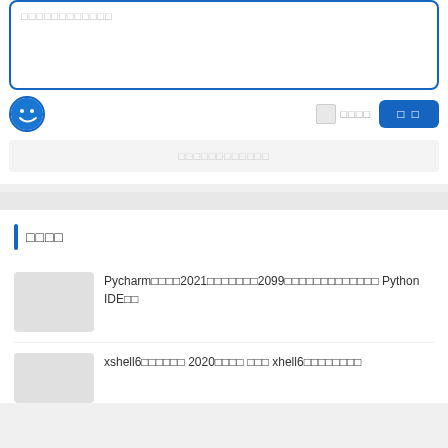[Figure (screenshot): Text input area with blue border and placeholder text in Chinese/redacted characters]
[Figure (screenshot): Bottom bar with smiley emoji icon, checkbox with redacted label, and blue submit button with redacted text]
[Figure (screenshot): Gray bar with redacted placeholder text]
□□□□
Pycharm□□□□2021□□□□□□□2099□□□□□□□□□□□□□ Python IDE□□
xshell6□□□□□□ 2020□□□□ □□□ xhell6□□□□□□□□